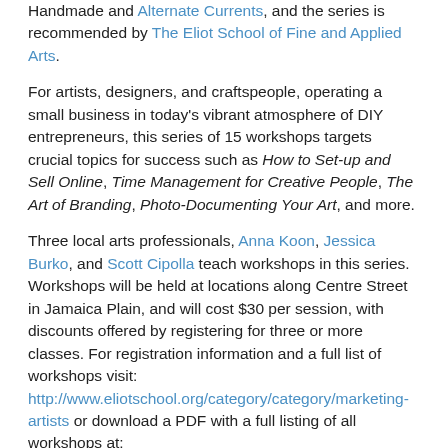Handmade and Alternate Currents, and the series is recommended by The Eliot School of Fine and Applied Arts.
For artists, designers, and craftspeople, operating a small business in today's vibrant atmosphere of DIY entrepreneurs, this series of 15 workshops targets crucial topics for success such as How to Set-up and Sell Online, Time Management for Creative People, The Art of Branding, Photo-Documenting Your Art, and more.
Three local arts professionals, Anna Koon, Jessica Burko, and Scott Cipolla teach workshops in this series. Workshops will be held at locations along Centre Street in Jamaica Plain, and will cost $30 per session, with discounts offered by registering for three or more classes. For registration information and a full list of workshops visit: http://www.eliotschool.org/category/category/marketing-artists or download a PDF with a full listing of all workshops at: http://www.a2n2.net/2012WorkshopSchedule.pdf.
About the instructors:
Anna Koon has additional to exhibitions and selling, she most and